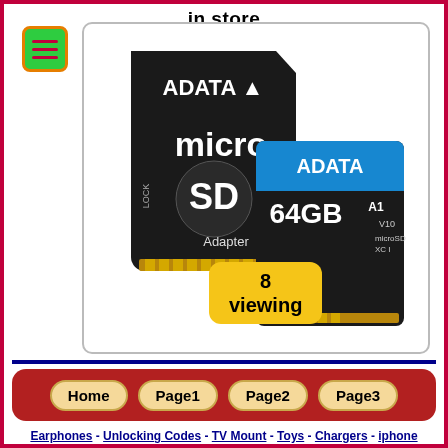in store
[Figure (photo): ADATA microSD card with SD adapter and a 64GB ADATA microSD card in blue packaging (A1, V10, microSD, XC I). An amber badge overlay reads '8 viewing'.]
8 viewing
Home  Page1  Page2  Page3
Earphones - Unlocking Codes - TV Mount - Toys - Chargers - iphone Cables - Type C Cables - Micro USB Cables - All Cables - Memory cards - Mobile Phones